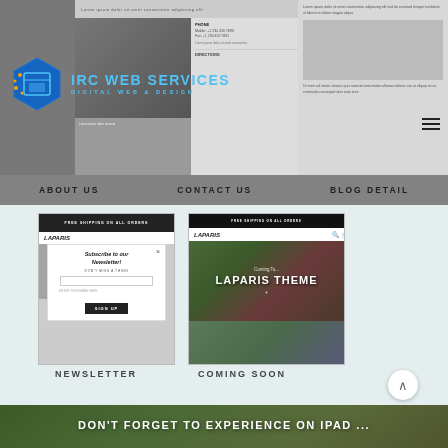[Figure (screenshot): IRC Web Services logo with hexagon icon and 'DIGITAL WEB & DESIGN' tagline in blue on grey background]
[Figure (screenshot): Website screenshot showing about us, contact us, and blog detail pages]
ABOUT US
CONTACT US
BLOG DETAIL
[Figure (screenshot): Newsletter popup modal screenshot on mobile showing 'Subscribe to our Newsletter! DON'T MISS A THING' with email input and SIGN UP button]
[Figure (screenshot): Coming Soon page screenshot showing LAPARIS THEME with green foliage background]
NEWSLETTER
COMING SOON
[Figure (screenshot): DON'T FORGET TO EXPERIENCE ON IPAD ... banner with tablet mockup showing Laparis theme]